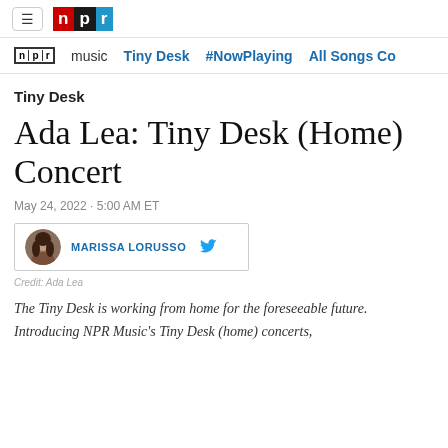NPR navigation header with hamburger menu and NPR logo
npr music  Tiny Desk  #NowPlaying  All Songs Co...
Tiny Desk
Ada Lea: Tiny Desk (Home) Concert
May 24, 2022 · 5:00 AM ET
MARISSA LORUSSO
Credit: Ada Lea
The Tiny Desk is working from home for the foreseeable future. Introducing NPR Music's Tiny Desk (home) concerts,